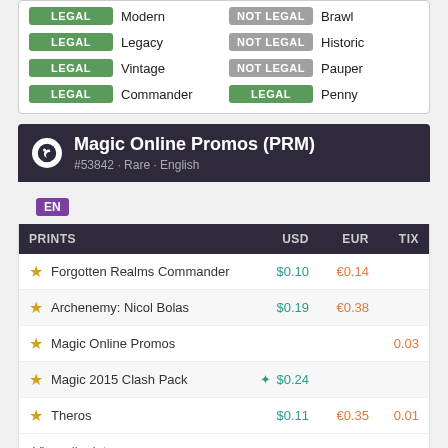| Status | Format | Status | Format |
| --- | --- | --- | --- |
| LEGAL | Modern | NOT LEGAL | Brawl |
| LEGAL | Legacy | NOT LEGAL | Historic |
| LEGAL | Vintage | NOT LEGAL | Pauper |
| LEGAL | Commander | LEGAL | Penny |
Magic Online Promos (PRM) #53842 · Rare · English
EN
| PRINTS | USD | EUR | TIX |
| --- | --- | --- | --- |
| Forgotten Realms Commander | $0.10 | €0.14 |  |
| Archenemy: Nicol Bolas | $0.19 | €0.38 |  |
| Magic Online Promos |  |  | 0.03 |
| Magic 2015 Clash Pack | * $0.24 |  |  |
| Theros | $0.11 | €0.35 | 0.01 |
View all prints →